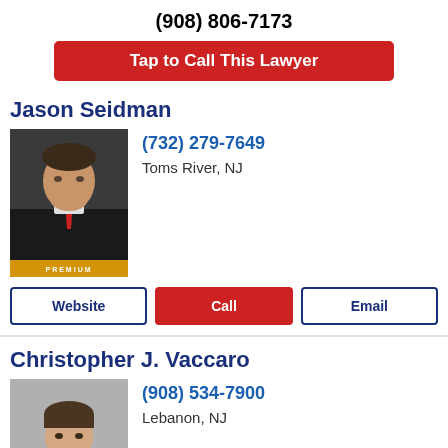(908) 806-7173
Tap to Call This Lawyer
Jason Seidman
[Figure (photo): Headshot of Jason Seidman, a heavyset man in a dark suit with a red tie, photo has PREMIUM label at bottom]
(732) 279-7649
Toms River, NJ
Website
Call
Email
Christopher J. Vaccaro
[Figure (photo): Headshot of Christopher J. Vaccaro, a young man in a dark suit with a light shirt, photo has PREMIUM label at bottom]
(908) 534-7900
Lebanon, NJ